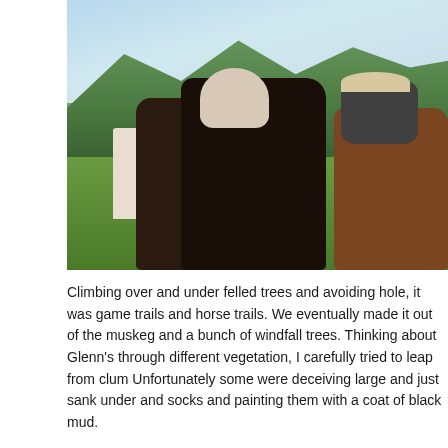[Figure (photo): Outdoor photograph showing people with horses in a green mountainous landscape. A person stands on the left holding a lead rope attached to a dark horse. Two riders are mounted on dark horses in the center and a brown horse is visible on the right. Green hills and a partly cloudy sky are in the background.]
Climbing over and under felled trees and avoiding hole, it was game trails and horse trails. We eventually made it out of the muskeg and a bunch of windfall trees. Thinking about Glenn's through different vegetation, I carefully tried to leap from clum Unfortunately some were deceiving large and just sank under and socks and painting them with a coat of black mud.